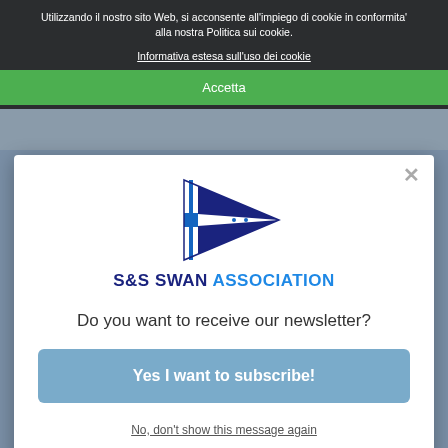Utilizzando il nostro sito Web, si acconsente all'impiego di cookie in conformita' alla nostra Politica sui cookie.
Informativa estesa sull'uso dei cookie
Accetta
[Figure (logo): S&S Swan Association pennant logo — a triangular burgee/pennant with dark blue and white sections and a horizontal blue stripe]
S&S SWAN ASSOCIATION
Do you want to receive our newsletter?
Yes I want to subscribe!
No, don't show this message again